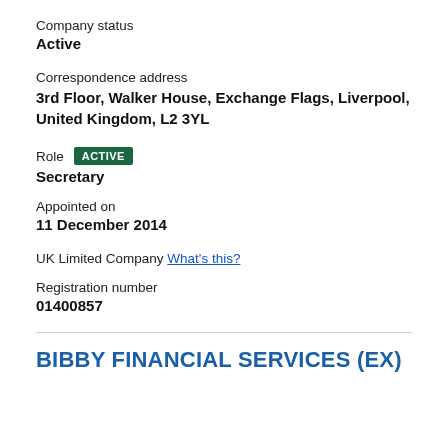Company status
Active
Correspondence address
3rd Floor, Walker House, Exchange Flags, Liverpool, United Kingdom, L2 3YL
Role  ACTIVE
Secretary
Appointed on
11 December 2014
UK Limited Company  What's this?
Registration number
01400857
BIBBY FINANCIAL SERVICES (EX)